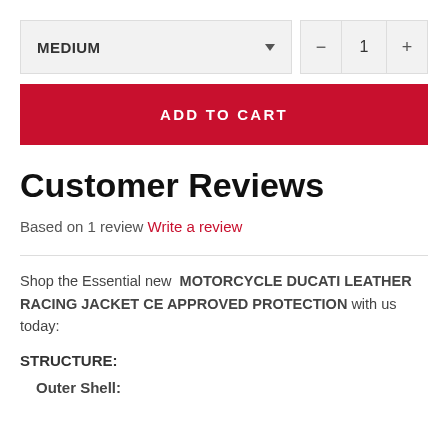[Figure (screenshot): Dropdown selector showing MEDIUM size option with arrow, and quantity selector showing 1 with minus and plus buttons]
[Figure (screenshot): Red ADD TO CART button]
Customer Reviews
Based on 1 review Write a review
Shop the Essential new MOTORCYCLE DUCATI LEATHER RACING JACKET CE APPROVED PROTECTION with us today:
STRUCTURE:
Outer Shell: